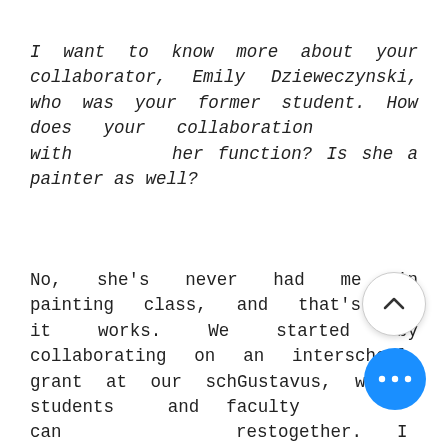I want to know more about your collaborator, Emily Dzieweczynski, who was your former student. How does your collaboration with her function? Is she a painter as well?
No, she's never had me in painting class, and that's why it works. We started by collaborating on an interschool grant at our school Gustavus, where students and faculty can research together. I thought of largely for her as a learning